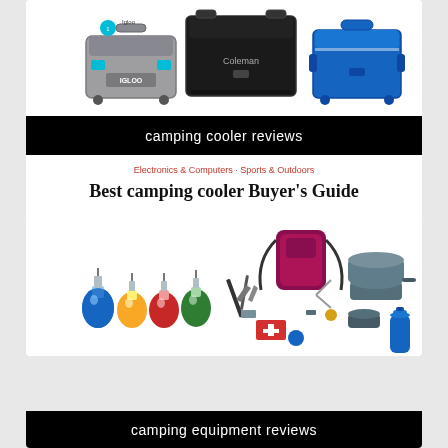[Figure (photo): Three camping coolers side by side: an Igloo gray/teal cooler on the left, a large black Coleman cooler in the center, and a blue cooler on the right]
camping cooler reviews
Electronics & Computers · Sports & Outdoors
Best camping cooler Buyer's Guide
[Figure (photo): Camping equipment flat lay showing colorful LED bulb lanterns (blue, yellow, red, green), a large survival kit with tools and first aid supplies, and camping cookware/mess kit with a blue water bottle]
camping equipment reviews